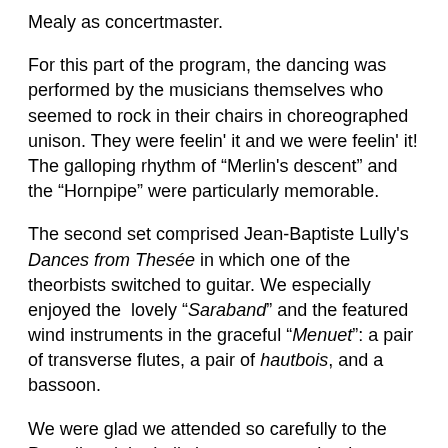Mealy as concertmaster.
For this part of the program, the dancing was performed by the musicians themselves who seemed to rock in their chairs in choreographed unison. They were feelin' it and we were feelin' it!  The galloping rhythm of "Merlin's descent" and the "Hornpipe" were particularly memorable.
The second set comprised Jean-Baptiste Lully's Dances from Thesée in which one of the theorbists switched to guitar. We especially enjoyed the  lovely "Saraband" and the featured wind instruments in the graceful "Menuet": a pair of transverse flutes, a pair of hautbois, and a bassoon.
We were glad we attended so carefully to the Purcell and the Lully because once the dancers joined the group our focus shifted. The period costumes (designed by Anna Watkins and provided by the Boston Early Music Festival) added a great deal to the illusion that we were at a French court in the latter part of the 17th c. The graceful hands and delicate footwork of Caroline Copeland and Carlos Fittante captivated us as they performed the stringently documented and